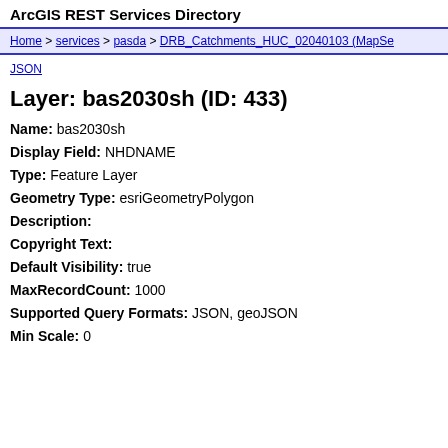ArcGIS REST Services Directory
Home > services > pasda > DRB_Catchments_HUC_02040103 (MapSe...
JSON
Layer: bas2030sh (ID: 433)
Name: bas2030sh
Display Field: NHDNAME
Type: Feature Layer
Geometry Type: esriGeometryPolygon
Description:
Copyright Text:
Default Visibility: true
MaxRecordCount: 1000
Supported Query Formats: JSON, geoJSON
Min Scale: 0